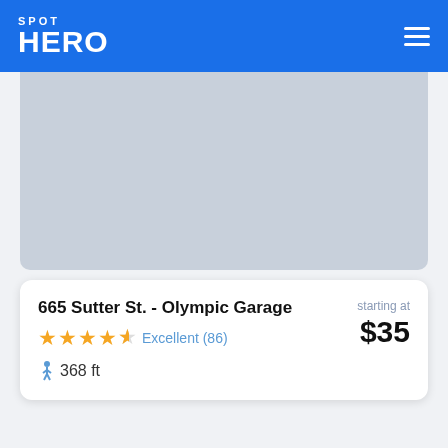SPOT HERO
[Figure (photo): Map placeholder image (light blue-gray area) showing parking location]
665 Sutter St. - Olympic Garage
starting at $35
Excellent (86)
368 ft
[Figure (photo): Map placeholder image (light blue-gray area) showing another parking location]